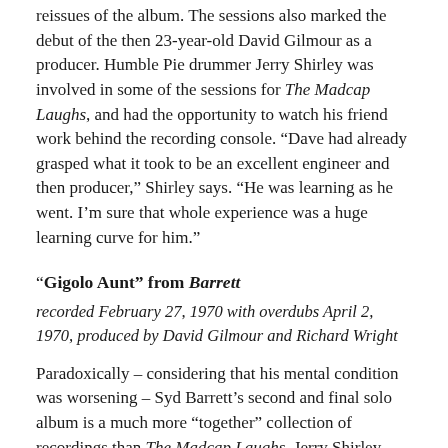reissues of the album. The sessions also marked the debut of the then 23-year-old David Gilmour as a producer. Humble Pie drummer Jerry Shirley was involved in some of the sessions for The Madcap Laughs, and had the opportunity to watch his friend work behind the recording console. “Dave had already grasped what it took to be an excellent engineer and then producer,” Shirley says. “He was learning as he went. I’m sure that whole experience was a huge learning curve for him.”
“Gigolo Aunt” from Barrett
recorded February 27, 1970 with overdubs April 2, 1970, produced by David Gilmour and Richard Wright
Paradoxically – considering that his mental condition was worsening – Syd Barrett’s second and final solo album is a much more “together” collection of recordings than The Madcap Laughs. Jerry Shirley recalls that much of the album was recorded with him on drums, David Gilmour on bass, Rick Wright on keyboards, and Syd on guitar and vocal. “Sounds like a pretty good band, doesn’t it?” he says. “We got a couple of really good things; ‘Gigolo Aunt’ was a live take.” Though the